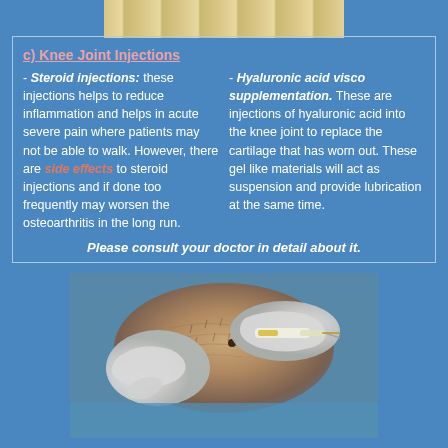[Figure (photo): Close-up photo of pills/tablets at top of page]
c) Knee Joint Injections
- Steroid injections: these injections helps to reduce inflammation and helps in acute severe pain where patients may not be able to walk. However, there are side effects to steroid injections and if done too frequently may worsen the osteoarthritis in the long run.
- Hyaluronic acid visco supplementation. These are injections of hyaluronic acid into the knee joint to replace the cartilage that has worn out. These gel like materials will act as suspension and provide lubrication at the same time.
Please consult your doctor in detail about it.
[Figure (photo): Close-up photo of a medical injection being administered into a knee joint by gloved hands]